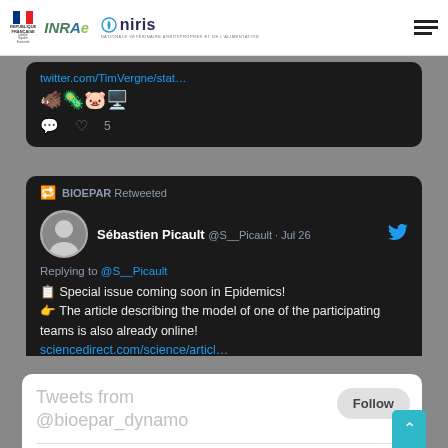[Figure (screenshot): Website header with République Française, INRAE, and Oniris logos on the left, and a hamburger menu icon on the right]
[Figure (screenshot): Twitter/social media embed showing two dark-themed tweet cards. First card (partial) shows a link to twitter.com/TimVergne/stat... with emojis and 5 likes. Second card shows BIOEPAR Retweeted, Sébastien Picault @S__Picault Jul 26, replying to @S__Picault, text: '📋 Special issue coming soon in Epidemics! 👉 The article describing the model of one of the participating teams is also already online!' with link sciencedirect.com/science/articl...]
BIOEPAR Retweeted
Sébastien Picault @S__Picault · Jul 26
Replying to @S__Picault
📋 Special issue coming soon in Epidemics! 👉 The article describing the model of one of the participating teams is also already online!
sciencedirect.com/science/articl…
Tweets from @bioepar_dynamo
Follow
DYNAMO research group Retweeted